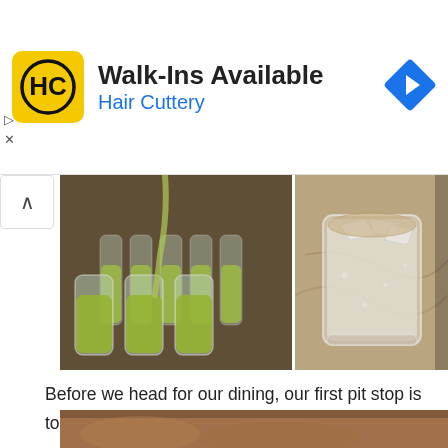[Figure (infographic): Hair Cuttery advertisement banner with logo, 'Walk-Ins Available' text, blue 'Hair Cuttery' subtitle, and a blue navigation diamond icon]
[Figure (photo): Two cocktail photos side by side: left shows green cocktails being poured into glasses, right shows a frosted/iced drink in a rocks glass on a marble surface]
Before we head for our dining, our first pit stop is to enjoy Cocktail at Villa Danieli while waiting for our dinner being prepared by 3 chefs of different restaurant.  The cocktails are just simply refreshing.
[Figure (photo): Partial bottom strip of a photo showing a warm-toned restaurant scene]